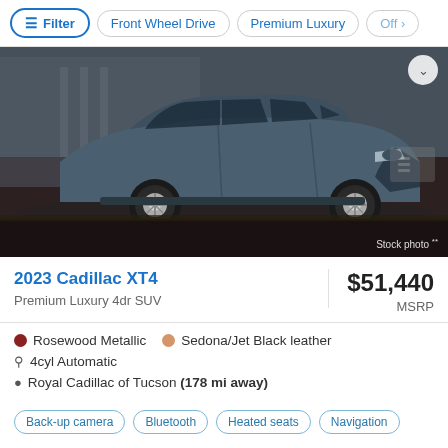Filter | Front Wheel Drive | Premium Luxury | Off
[Figure (photo): Side profile photo of a 2023 Cadillac XT4 in dark teal/blue color, parked on a street. Stock photo watermark visible in bottom right.]
2023 Cadillac XT4 — $51,440 MSRP, Premium Luxury 4dr SUV
Rosewood Metallic | Sedona/Jet Black leather | 4cyl Automatic | Royal Cadillac of Tucson (178 mi away)
Back-up camera | Bluetooth | Heated seats | Navigation